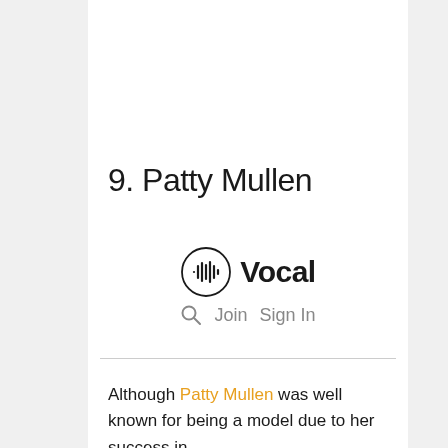9. Patty Mullen
[Figure (logo): Vocal logo with circular waveform icon, navigation links for search, Join, and Sign In]
Although Patty Mullen was well known for being a model due to her success in